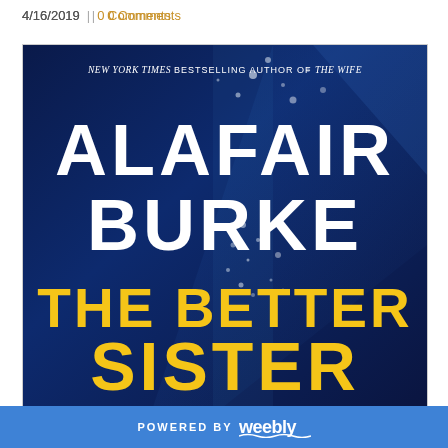4/16/2019 | 0 Comments
[Figure (illustration): Book cover for 'The Better Sister' by Alafair Burke. Dark blue underwater background with bubbles. Text reads: NEW YORK TIMES BESTSELLING AUTHOR OF THE WIFE at top, ALAFAIR BURKE in large white letters in the middle, THE BETTER SISTER in large yellow letters at the bottom.]
POWERED BY weebly